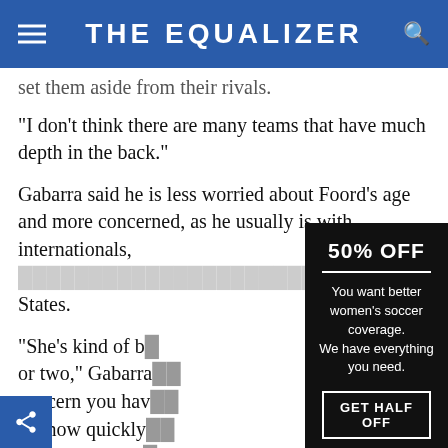THE EQUALIZER
set them aside from their rivals.
“I don’t think there are many teams that have much depth in the back.”
Gabarra said he is less worried about Foord’s age and more concerned, as he usually is with internationals, [text obscured] States.
“She’s kind of b[obscured] or two,” Gabarra [obscured] concern you hav[obscured] It’s how quickly [obscured] culture and a lit[obscured] ysical and de[obscured]
[Figure (infographic): Advertisement overlay on black background. Shows '50% OFF' in large bold text, a horizontal white divider line, body text reading 'You want better women’s soccer coverage. We have everything you need.', and a button with text 'GET HALF OFF'.]